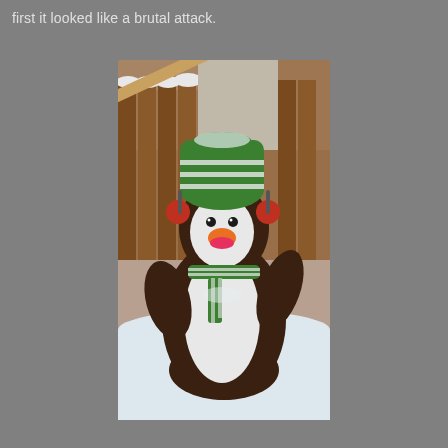first it looked like a brutal attack.
[Figure (photo): A stuffed penguin toy wearing a green striped winter hat with red ear muffs and a green and white striped scarf, sitting outside in snow with a wooden fence in the background. The penguin has dark brown body, white belly, an orange beak, and appears to be holding or leaning against something.]